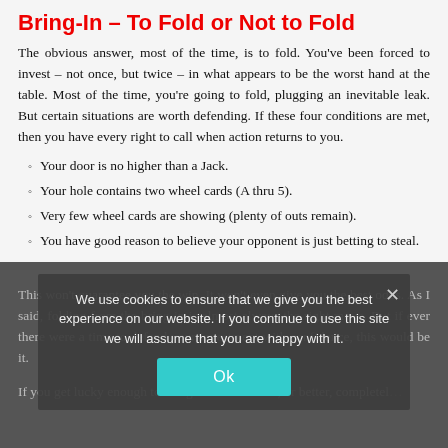Bring-In – To Fold or Not to Fold
The obvious answer, most of the time, is to fold. You've been forced to invest – not once, but twice – in what appears to be the worst hand at the table. Most of the time, you're going to fold, plugging an inevitable leak. But certain situations are worth defending. If these four conditions are met, then you have every right to call when action returns to you.
Your door is no higher than a Jack.
Your hole contains two wheel cards (A thru 5).
Very few wheel cards are showing (plenty of outs remain).
You have good reason to believe your opponent is just betting to steal.
This won't guarantee you the win. It won't even give you the best odds. As I said, folding from the bring-in is almost always the right move. But if ever there were a time to defend your investment with confidence, this would be it.
If you get lucky enough to bring with a 3-card 8, or better, complete the...